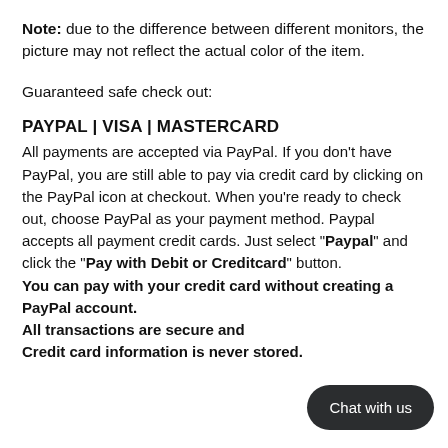Note: due to the difference between different monitors, the picture may not reflect the actual color of the item.
Guaranteed safe check out:
PAYPAL | VISA | MASTERCARD
All payments are accepted via PayPal. If you don't have PayPal, you are still able to pay via credit card by clicking on the PayPal icon at checkout. When you're ready to check out, choose PayPal as your payment method. Paypal accepts all payment credit cards. Just select "Paypal" and click the "Pay with Debit or Creditcard" button. You can pay with your credit card without creating a PayPal account. All transactions are secure and. Credit card information is never stored.